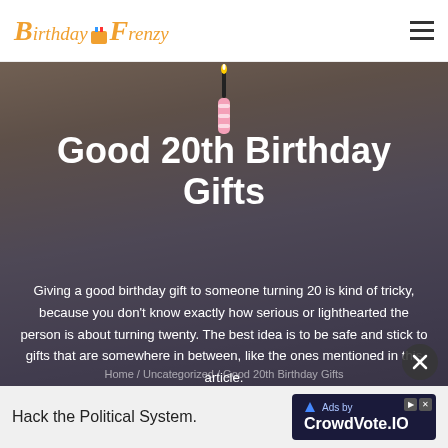BirthdayFrenzy
[Figure (photo): Hero banner with cupcake and birthday candle background, dark overlay. Shows a cupcake with pink frosting and a lit candle with the number 2.]
Good 20th Birthday Gifts
Giving a good birthday gift to someone turning 20 is kind of tricky, because you don't know exactly how serious or lighthearted the person is about turning twenty. The best idea is to be safe and stick to gifts that are somewhere in between, like the ones mentioned in this article.
Home / Uncategorized / Good 20th Birthday Gifts
Hack the Political System. CrowdVote.IO